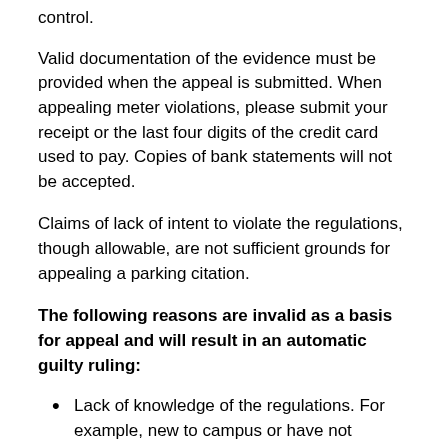control.
Valid documentation of the evidence must be provided when the appeal is submitted. When appealing meter violations, please submit your receipt or the last four digits of the credit card used to pay. Copies of bank statements will not be accepted.
Claims of lack of intent to violate the regulations, though allowable, are not sufficient grounds for appealing a parking citation.
The following reasons are invalid as a basis for appeal and will result in an automatic guilty ruling:
Lack of knowledge of the regulations. For example, new to campus or have not reviewed regulations.